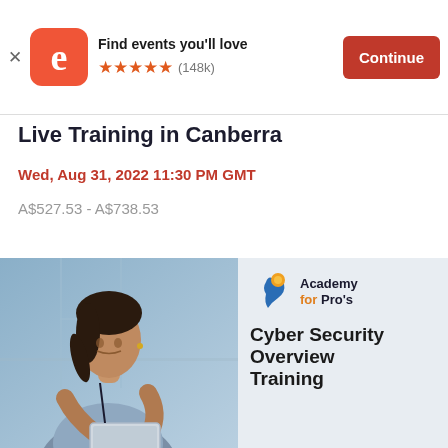[Figure (screenshot): Eventbrite app banner with logo, 'Find events you'll love' text, 5 star rating (148k reviews), and orange Continue button]
Live Training in Canberra
Wed, Aug 31, 2022 11:30 PM GMT
A$527.53 - A$738.53
[Figure (photo): Event promotional image showing a woman in a blue shirt looking at a tablet on the left half, and Academy for Pro's logo with 'Cyber Security Overview Training' text on the right half on a light grey background]